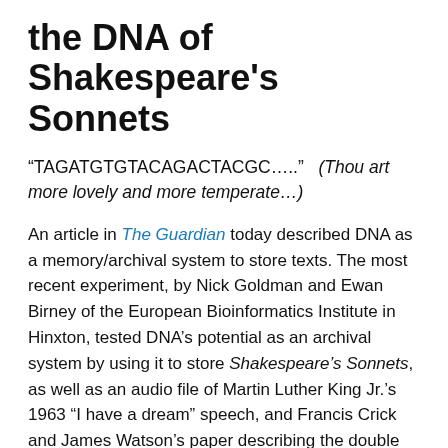the DNA of Shakespeare's Sonnets
“TAGATGTGTACAGACTACGC…..”   (Thou art more lovely and more temperate…)
An article in The Guardian today described DNA as a memory/archival system to store texts. The most recent experiment, by Nick Goldman and Ewan Birney of the European Bioinformatics Institute in Hinxton, tested DNA’s potential as an archival system by using it to store Shakespeare’s Sonnets, as well as an audio file of Martin Luther King Jr.’s 1963 “I have a dream” speech, and Francis Crick and James Watson’s paper describing the double helix of DNA. The texts were first translated into binary code, and then into the four “letters” or acids of DNA (GCAT). Mo… this lab…